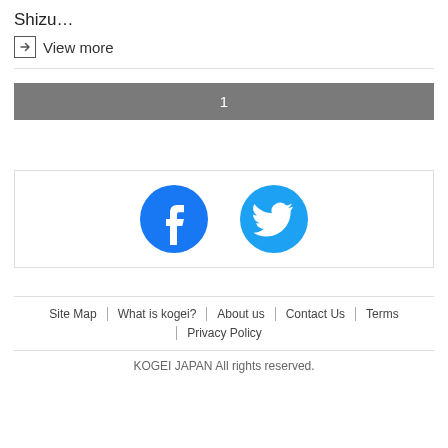Shizu…
→ View more
1
[Figure (illustration): Facebook and Twitter social media icon circles side by side inside a bordered box]
Site Map | What is kogei? | About us | Contact Us | Terms | Privacy Policy
KOGEI JAPAN All rights reserved.